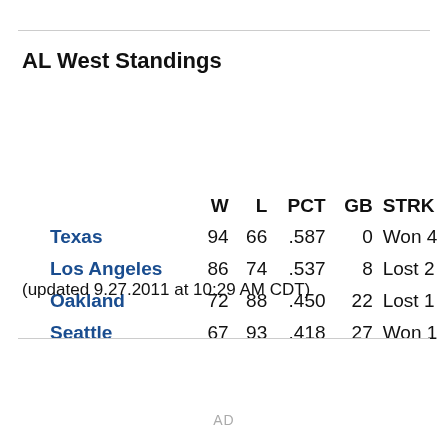AL West Standings
|  | W | L | PCT | GB | STRK |
| --- | --- | --- | --- | --- | --- |
| Texas | 94 | 66 | .587 | 0 | Won 4 |
| Los Angeles | 86 | 74 | .537 | 8 | Lost 2 |
| Oakland | 72 | 88 | .450 | 22 | Lost 1 |
| Seattle | 67 | 93 | .418 | 27 | Won 1 |
(updated 9.27.2011 at 10:29 AM CDT)